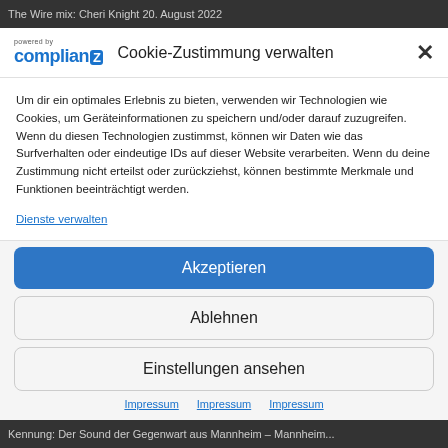The Wire mix: Cheri Knight 20. August 2022
Cookie-Zustimmung verwalten
Um dir ein optimales Erlebnis zu bieten, verwenden wir Technologien wie Cookies, um Geräteinformationen zu speichern und/oder darauf zuzugreifen. Wenn du diesen Technologien zustimmst, können wir Daten wie das Surfverhalten oder eindeutige IDs auf dieser Website verarbeiten. Wenn du deine Zustimmung nicht erteilst oder zurückziehst, können bestimmte Merkmale und Funktionen beeinträchtigt werden.
Dienste verwalten
Akzeptieren
Ablehnen
Einstellungen ansehen
Impressum   Impressum   Impressum
Kennung: Der Sound der Gegenwart aus Mannheim – Mannheim...